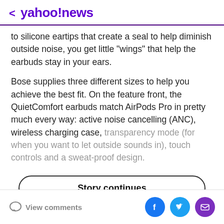< yahoo!news
to silicone eartips that create a seal to help diminish outside noise, you get little "wings" that help the earbuds stay in your ears.

Bose supplies three different sizes to help you achieve the best fit. On the feature front, the QuietComfort earbuds match AirPods Pro in pretty much every way: active noise cancelling (ANC), wireless charging case, transparency mode (for when you want to let outside sounds in), touch controls and a sweat-proof design.
Story continues
View comments